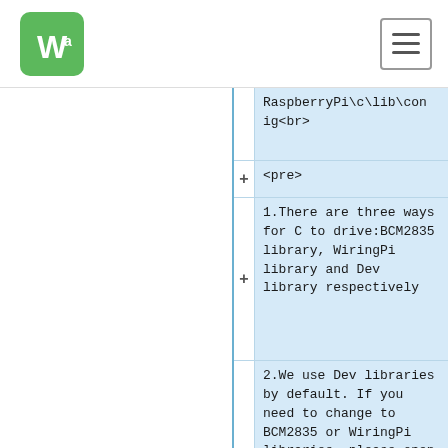Waveshare logo and navigation
RaspberryPi\c\lib\config<br>
<pre>
1.There are three ways for C to drive:BCM2835 library, WiringPi library and Dev library respectively
2.We use Dev libraries by default. If you need to change to BCM2835 or WiringPi libraries ,please open RaspberryPi\c\Makefile and modify lines 13-15 as follows:
</pre>